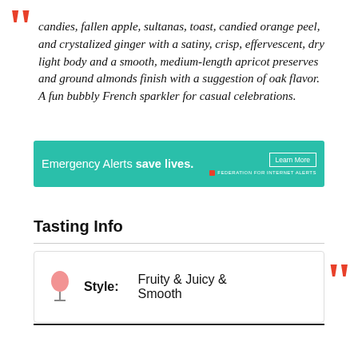candies, fallen apple, sultanas, toast, candied orange peel, and crystalized ginger with a satiny, crisp, effervescent, dry light body and a smooth, medium-length apricot preserves and ground almonds finish with a suggestion of oak flavor. A fun bubbly French sparkler for casual celebrations.
[Figure (infographic): Emergency Alerts save lives. Learn More button. Federation for Internet Alerts logo.]
Tasting Info
| Style |
| --- |
| Fruity & Juicy & Smooth |